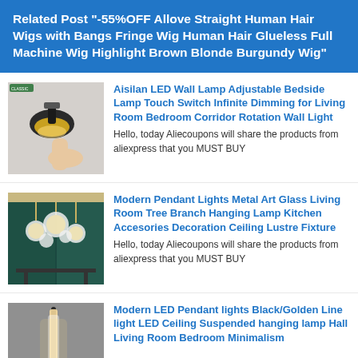Related Post "-55%OFF Allove Straight Human Hair Wigs with Bangs Fringe Wig Human Hair Glueless Full Machine Wig Highlight Brown Blonde Burgundy Wig"
[Figure (photo): Wall lamp product image - adjustable LED wall lamp with gold dome shade]
Aisilan LED Wall Lamp Adjustable Bedside Lamp Touch Switch Infinite Dimming for Living Room Bedroom Corridor Rotation Wall Light
Hello, today Aliecoupons will share the products from aliexpress that you MUST BUY
[Figure (photo): Modern pendant light product image - glass pendant lights hanging from ceiling in dark teal room]
Modern Pendant Lights Metal Art Glass Living Room Tree Branch Hanging Lamp Kitchen Accesories Decoration Ceiling Lustre Fixture
Hello, today Aliecoupons will share the products from aliexpress that you MUST BUY
[Figure (photo): Modern LED pendant light product image - slim vertical line light against grey wall]
Modern LED Pendant lights Black/Golden Line light LED Ceiling Suspended hanging lamp Hall Living Room Bedroom Minimalism